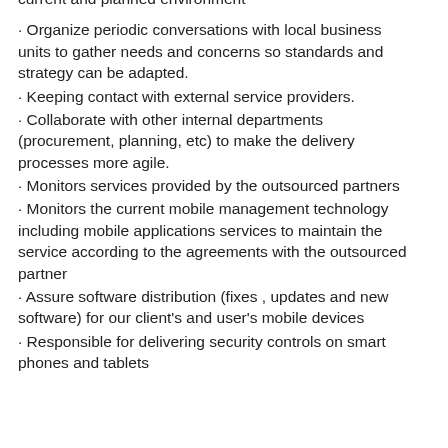current and planned environment
Organize periodic conversations with local business units to gather needs and concerns so standards and strategy can be adapted.
Keeping contact with external service providers.
Collaborate with other internal departments (procurement, planning, etc) to make the delivery processes more agile.
Monitors services provided by the outsourced partners
Monitors the current mobile management technology including mobile applications services to maintain the service according to the agreements with the outsourced partner
Assure software distribution (fixes , updates and new software) for our client's and user's mobile devices
Responsible for delivering security controls on smart phones and tablets